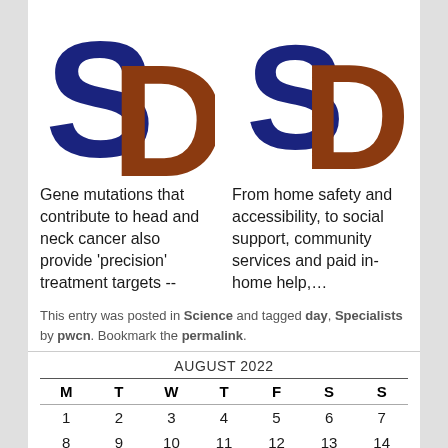[Figure (logo): Two 'SD' logos side by side: left logo has dark blue 'S' and brown 'D', right logo has smaller dark blue 'S' and brown 'D']
Gene mutations that contribute to head and neck cancer also provide 'precision' treatment targets --
From home safety and accessibility, to social support, community services and paid in-home help,…
This entry was posted in Science and tagged day, Specialists by pwcn. Bookmark the permalink.
| M | T | W | T | F | S | S |
| --- | --- | --- | --- | --- | --- | --- |
| 1 | 2 | 3 | 4 | 5 | 6 | 7 |
| 8 | 9 | 10 | 11 | 12 | 13 | 14 |
| 15 | 16 | 17 | 18 | 19 | 20 | 21 |
| 22 | 23 | 24 | 25 | 26 | 27 | 28 |